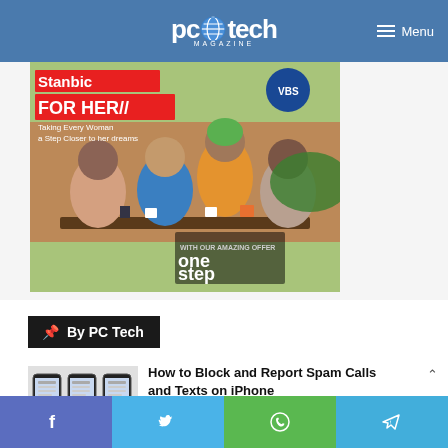pc tech MAGAZINE | Menu
[Figure (photo): Stanbic Bank 'For Her' advertisement showing four women sitting at an outdoor table, smiling and chatting with text 'Stanbic FOR HER // Taking Every Woman a Step Closer to her dreams' and 'one step closer']
By PC Tech
[Figure (photo): Thumbnail showing smartphones with messaging/calls screens]
How to Block and Report Spam Calls and Texts on iPhone
f  |  Twitter bird  |  WhatsApp  |  Telegram